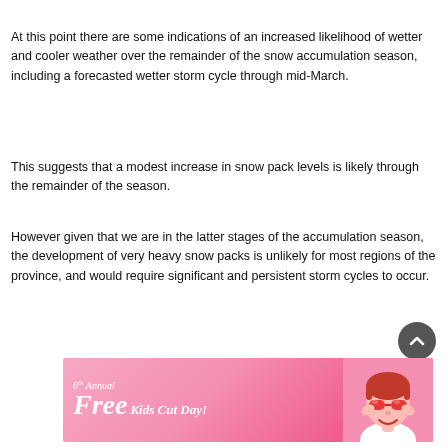At this point there are some indications of an increased likelihood of wetter and cooler weather over the remainder of the snow accumulation season, including a forecasted wetter storm cycle through mid-March.
This suggests that a modest increase in snow pack levels is likely through the remainder of the season.
However given that we are in the latter stages of the accumulation season, the development of very heavy snow packs is unlikely for most regions of the province, and would require significant and persistent storm cycles to occur.
[Figure (other): Advertisement banner: 6th Annual Free Kids Cut Day with a child wearing red sunglasses on a pink background]